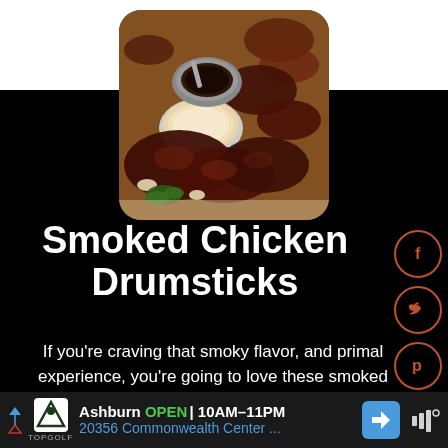[Figure (photo): Photo of smoked chicken drumsticks on a wooden board with two dipping sauces (dark BBQ and creamy white) in metal ramekins, garnished with fresh herbs]
Smoked Chicken Drumsticks
If you're craving that smoky flavor, and primal experience, you're going to love these smoked chicken legs.
Ashburn OPEN 10AM–11PM 20356 Commonwealth Center ...